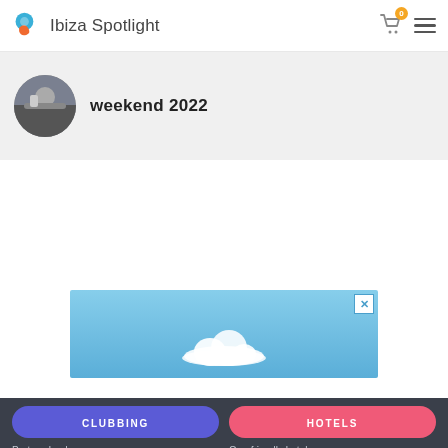Ibiza Spotlight
weekend 2022
[Figure (photo): Circular avatar photo of a person]
[Figure (photo): Advertisement banner with blue sky and white cloud, with close (X) button]
CLUBBING | Party calendar | Club news | Club tickets | HOTELS | Gay-friendly hotels | Hotels for clubbers | Adults-only hotels